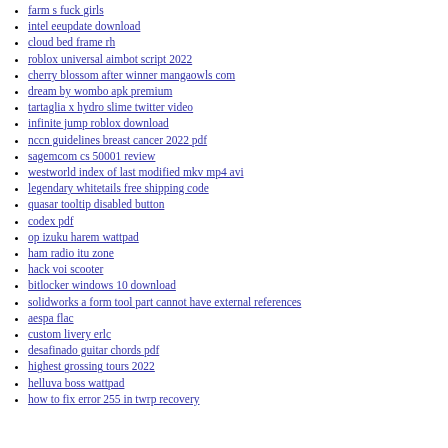farm s fuck girls
intel eeupdate download
cloud bed frame rh
roblox universal aimbot script 2022
cherry blossom after winner mangaowls com
dream by wombo apk premium
tartaglia x hydro slime twitter video
infinite jump roblox download
nccn guidelines breast cancer 2022 pdf
sagemcom cs 50001 review
westworld index of last modified mkv mp4 avi
legendary whitetails free shipping code
quasar tooltip disabled button
codex pdf
op izuku harem wattpad
ham radio itu zone
hack voi scooter
bitlocker windows 10 download
solidworks a form tool part cannot have external references
aespa flac
custom livery erlc
desafinado guitar chords pdf
highest grossing tours 2022
helluva boss wattpad
how to fix error 255 in twrp recovery